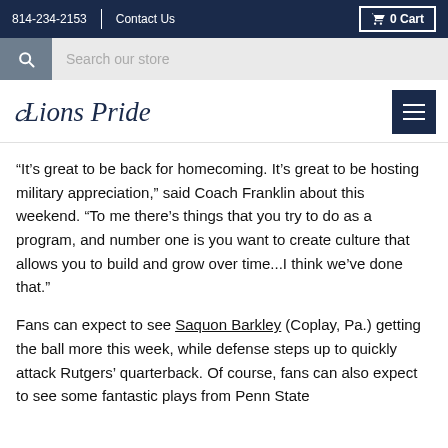814-234-2153   Contact Us   0 Cart
“It’s great to be back for homecoming. It’s great to be hosting military appreciation,” said Coach Franklin about this weekend. “To me there’s things that you try to do as a program, and number one is you want to create culture that allows you to build and grow over time...I think we’ve done that.”
Fans can expect to see Saquon Barkley (Coplay, Pa.) getting the ball more this week, while defense steps up to quickly attack Rutgers’ quarterback. Of course, fans can also expect to see some fantastic plays from Penn State